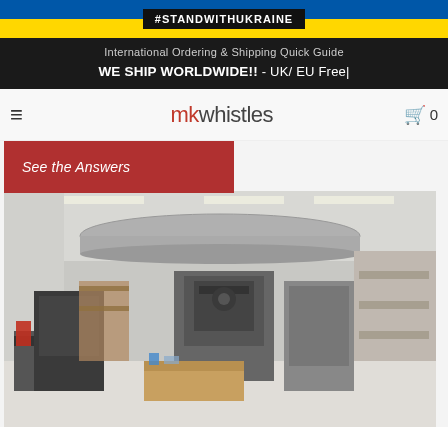#STANDWITHUKRAINE
International Ordering & Shipping Quick Guide
WE SHIP WORLDWIDE!! - UK/ EU Free|
mkwhistles
See the Answers
[Figure (photo): Interior of a workshop/manufacturing facility showing CNC machines, lathes, workbenches with tools and materials, metal ducting on the ceiling, shelving with stock, and industrial lighting.]